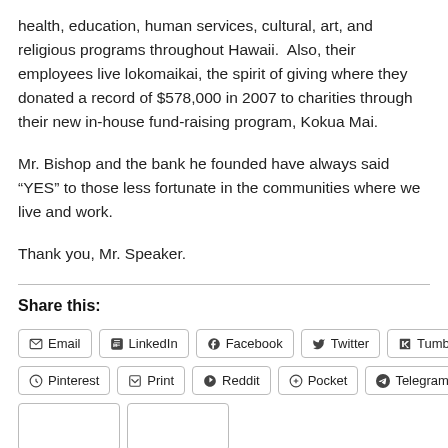health, education, human services, cultural, art, and religious programs throughout Hawaii.  Also, their employees live lokomaikai, the spirit of giving where they donated a record of $578,000 in 2007 to charities through their new in-house fund-raising program, Kokua Mai.
Mr. Bishop and the bank he founded have always said “YES” to those less fortunate in the communities where we live and work.
Thank you, Mr. Speaker.
Share this:
Email | LinkedIn | Facebook | Twitter | Tumblr | Pinterest | Print | Reddit | Pocket | Telegram